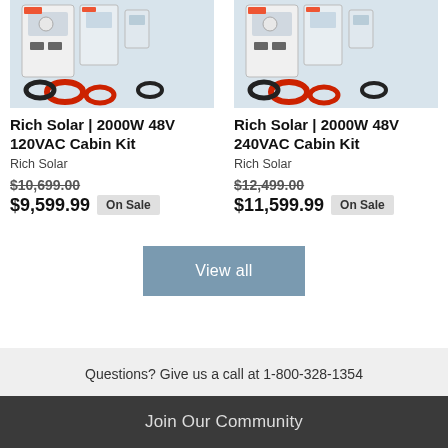[Figure (photo): Product photo of Rich Solar 2000W 48V 120VAC Cabin Kit showing inverter and components]
Rich Solar | 2000W 48V 120VAC Cabin Kit
Rich Solar
$10,699.00
$9,599.99 On Sale
[Figure (photo): Product photo of Rich Solar 2000W 48V 240VAC Cabin Kit showing inverter and components]
Rich Solar | 2000W 48V 240VAC Cabin Kit
Rich Solar
$12,499.00
$11,599.99 On Sale
View all
Questions? Give us a call at 1-800-328-1354
Join Our Community